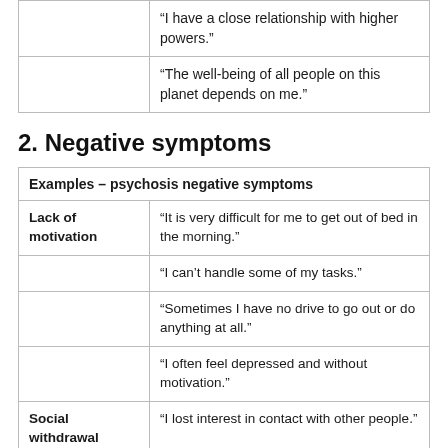|  |  |
| --- | --- |
|  | “I have a close relationship with higher powers.” |
|  | “The well-being of all people on this planet depends on me.” |
2. Negative symptoms
| Examples – psychosis negative symptoms |  |
| --- | --- |
| Lack of motivation | “It is very difficult for me to get out of bed in the morning.” |
|  | “I can’t handle some of my tasks.” |
|  | “Sometimes I have no drive to go out or do anything at all.” |
|  | “I often feel depressed and without motivation.” |
| Social withdrawal | “I lost interest in contact with other people.” |